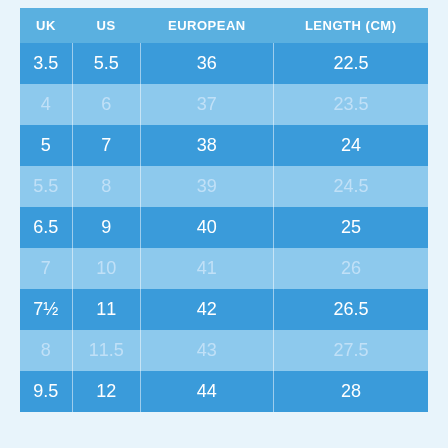| UK | US | EUROPEAN | LENGTH (CM) |
| --- | --- | --- | --- |
| 3.5 | 5.5 | 36 | 22.5 |
| 4 | 6 | 37 | 23.5 |
| 5 | 7 | 38 | 24 |
| 5.5 | 8 | 39 | 24.5 |
| 6.5 | 9 | 40 | 25 |
| 7 | 10 | 41 | 26 |
| 7½ | 11 | 42 | 26.5 |
| 8 | 11.5 | 43 | 27.5 |
| 9.5 | 12 | 44 | 28 |